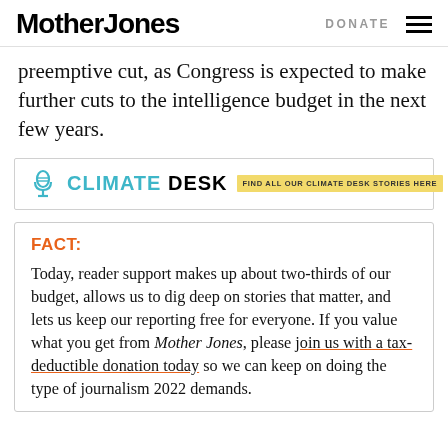Mother Jones | DONATE
preemptive cut, as Congress is expected to make further cuts to the intelligence budget in the next few years.
[Figure (logo): Climate Desk logo with microphone icon and text 'CLIMATE DESK' followed by yellow badge reading 'FIND ALL OUR CLIMATE DESK STORIES HERE']
FACT:
Today, reader support makes up about two-thirds of our budget, allows us to dig deep on stories that matter, and lets us keep our reporting free for everyone. If you value what you get from Mother Jones, please join us with a tax-deductible donation today so we can keep on doing the type of journalism 2022 demands.